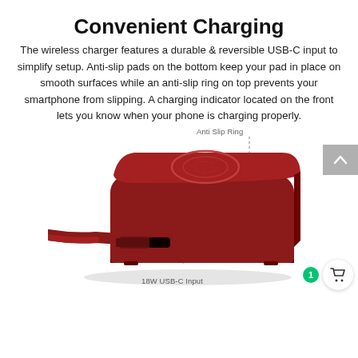Convenient Charging
The wireless charger features a durable & reversible USB-C input to simplify setup. Anti-slip pads on the bottom keep your pad in place on smooth surfaces while an anti-slip ring on top prevents your smartphone from slipping. A charging indicator located on the front lets you know when your phone is charging properly.
[Figure (photo): Red wireless charging pad with a USB-C cable plugged in, viewed at an angle. Annotated with dotted lines pointing to 'Anti Slip Ring' on top and '18W USB-C Input' on the front.]